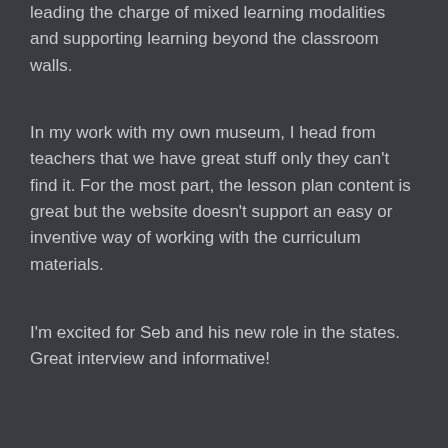leading the charge of mixed learning modalities and supporting learning beyond the classroom walls.
In my work with my own museum, I head from teachers that we have great stuff only they can't find it. For the most part, the lesson plan content is great but the website doesn't support an easy or inventive way of working with the curriculum materials.
I'm excited for Seb and his new role in the states. Great interview and informative!